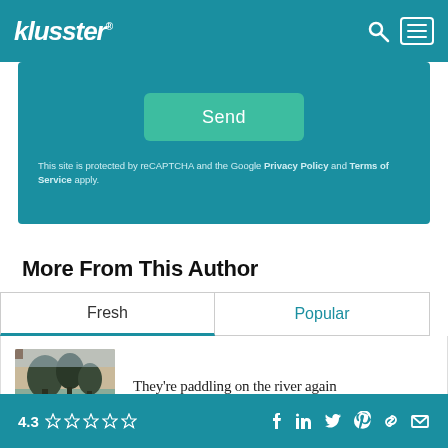klusster®
Send
This site is protected by reCAPTCHA and the Google Privacy Policy and Terms of Service apply.
More From This Author
Fresh
Popular
[Figure (photo): Sepia-toned photograph of trees reflected in a river]
They're paddling on the river again
4.3 ☆☆☆☆☆